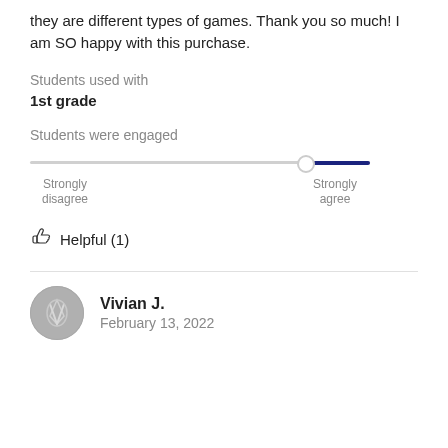they are different types of games. Thank you so much! I am SO happy with this purchase.
Students used with
1st grade
Students were engaged
[Figure (other): A horizontal slider indicating 'Students were engaged', positioned past the midpoint toward Strongly agree. Labels: Strongly disagree (left), Strongly agree (right).]
Helpful (1)
Vivian J.
February 13, 2022